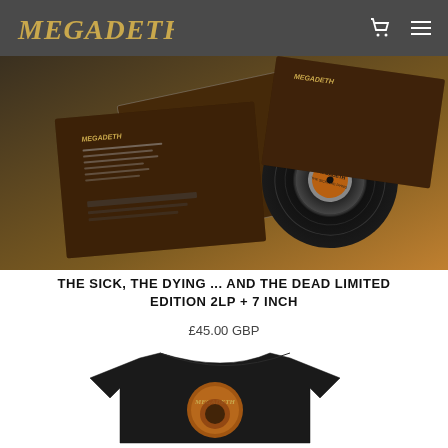[Figure (screenshot): Megadeth navigation bar with logo, shopping cart icon, and hamburger menu on dark grey background]
[Figure (photo): Megadeth 'The Sick, The Dying... And The Dead' vinyl record product photo showing album covers and black vinyl record]
THE SICK, THE DYING ... AND THE DEAD LIMITED EDITION 2LP + 7 INCH
£45.00 GBP
[Figure (photo): Megadeth black t-shirt with album artwork graphic on the front]